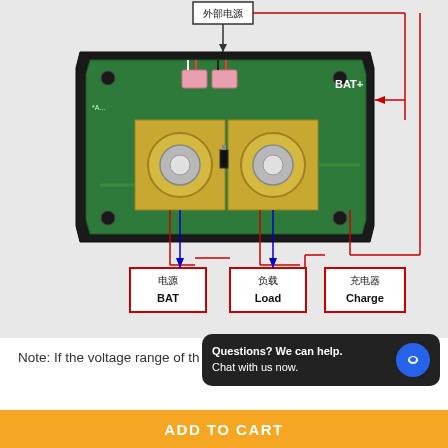[Figure (circuit-diagram): Circuit diagram showing a BMS (Battery Management System) board with labeled connection points: 外部电源 (External Power) at top, BAT+ on the right side of the board, and three labeled terminal boxes at the bottom: 电源/BAT (Battery), 负载/Load, and 充电器/Charge. Red lines show positive connections and blue arrows indicate connection directions.]
Note: If the voltage range of th...
Questions? We can help. Chat with us now.
ADD TO CART